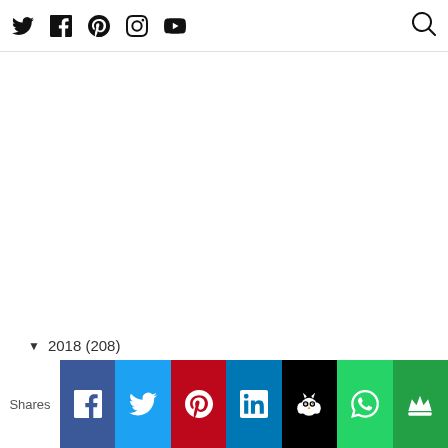Twitter Facebook Pinterest Instagram YouTube [Search]
▼ 2018 (208)
Shares [Facebook] [Twitter] [Pinterest] [LinkedIn] [Hootsuite] [WhatsApp] [Crown]